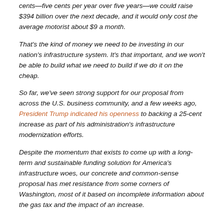cents—five cents per year over five years—we could raise $394 billion over the next decade, and it would only cost the average motorist about $9 a month.
That's the kind of money we need to be investing in our nation's infrastructure system. It's that important, and we won't be able to build what we need to build if we do it on the cheap.
So far, we've seen strong support for our proposal from across the U.S. business community, and a few weeks ago, President Trump indicated his openness to backing a 25-cent increase as part of his administration's infrastructure modernization efforts.
Despite the momentum that exists to come up with a long-term and sustainable funding solution for America's infrastructure woes, our concrete and common-sense proposal has met resistance from some corners of Washington, most of it based on incomplete information about the gas tax and the impact of an increase.